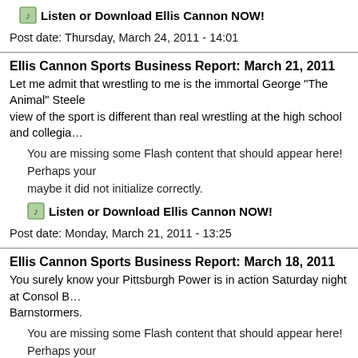Listen or Download Ellis Cannon NOW!
Post date: Thursday, March 24, 2011 - 14:01
Ellis Cannon Sports Business Report: March 21, 2011
Let me admit that wrestling to me is the immortal George "The Animal" Steele... view of the sport is different than real wrestling at the high school and collegia...
You are missing some Flash content that should appear here! Perhaps your... maybe it did not initialize correctly.
Listen or Download Ellis Cannon NOW!
Post date: Monday, March 21, 2011 - 13:25
Ellis Cannon Sports Business Report: March 18, 2011
You surely know your Pittsburgh Power is in action Saturday night at Consol B... Barnstormers.
You are missing some Flash content that should appear here! Perhaps your... maybe it did not initialize correctly.
Listen or download Ellis Cannon NOW!
Post date: Friday, March 18, 2011 - 11:16